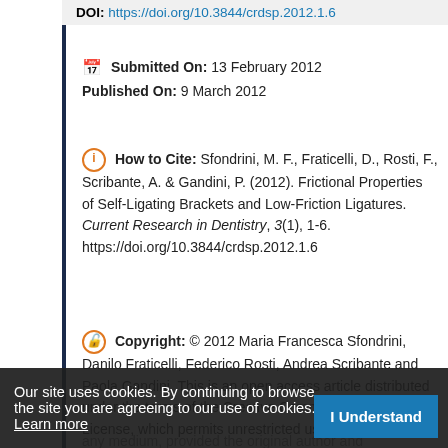DOI: https://doi.org/10.3844/crdsp.2012.1.6
Submitted On: 13 February 2012
Published On: 9 March 2012
How to Cite: Sfondrini, M. F., Fraticelli, D., Rosti, F., Scribante, A. & Gandini, P. (2012). Frictional Properties of Self-Ligating Brackets and Low-Friction Ligatures. Current Research in Dentistry, 3(1), 1-6. https://doi.org/10.3844/crdsp.2012.1.6
Copyright: © 2012 Maria Francesca Sfondrini, Danilo Fraticelli, Federico Rosti, Andrea Scribante and Paola Gandini. This is an open access article distributed under the terms of the Creative Commons Attribution License, which permits unrestricted use, distribution, and reproduction in any medium, provided the original author and
Our site uses cookies. By continuing to browse the site you are agreeing to our use of cookies. Learn more
I Understand